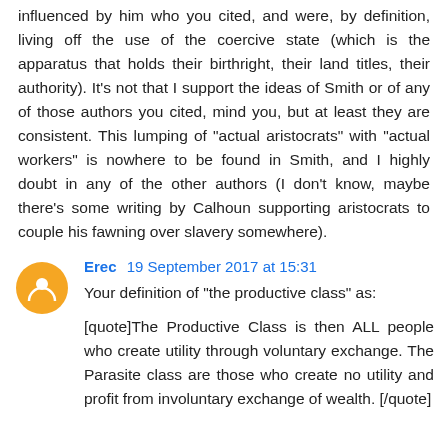influenced by him who you cited, and were, by definition, living off the use of the coercive state (which is the apparatus that holds their birthright, their land titles, their authority). It's not that I support the ideas of Smith or of any of those authors you cited, mind you, but at least they are consistent. This lumping of "actual aristocrats" with "actual workers" is nowhere to be found in Smith, and I highly doubt in any of the other authors (I don't know, maybe there's some writing by Calhoun supporting aristocrats to couple his fawning over slavery somewhere).
Erec 19 September 2017 at 15:31
Your definition of "the productive class" as:
[quote]The Productive Class is then ALL people who create utility through voluntary exchange. The Parasite class are those who create no utility and profit from involuntary exchange of wealth. [/quote]